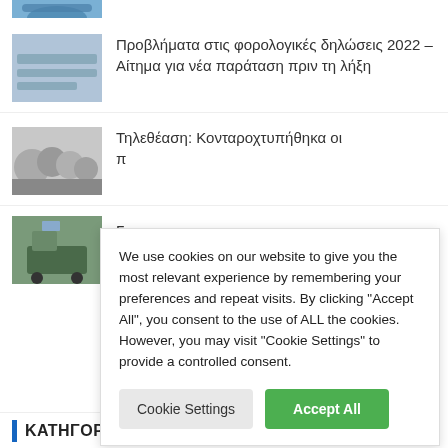[Figure (photo): Partial thumbnail image visible at top of page]
[Figure (photo): Thumbnail of industrial printing/manufacturing machinery]
Προβλήματα στις φορολογικές δηλώσεις 2022 – Αίτημα για νέα παράταση πριν τη λήξη
[Figure (photo): Thumbnail of group of people in formal attire]
Τηλεθέαση: Κονταροχτυπήθηκα οι π
[Figure (photo): Partial thumbnail of police car]
Γ... π... ν...
We use cookies on our website to give you the most relevant experience by remembering your preferences and repeat visits. By clicking "Accept All", you consent to the use of ALL the cookies. However, you may visit "Cookie Settings" to provide a controlled consent.
Cookie Settings
Accept All
ΚΑΤΗΓΟΡΙΕΣ